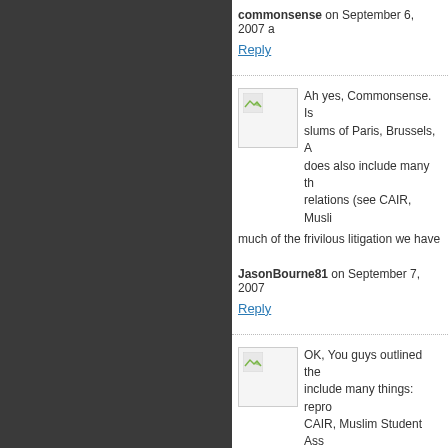commonsense on September 6, 2007 a
Reply
[Figure (photo): Avatar thumbnail with broken image icon]
Ah yes, Commonsense. Is slums of Paris, Brussels, A does also include many th relations (see CAIR, Musli much of the frivilous litigation we have
JasonBourne81 on September 7, 2007
Reply
[Figure (photo): Avatar thumbnail with broken image icon]
OK, You guys outlined the include many things: repro CAIR, Muslim Student Ass frivilous litigation we have Now, what can/must we Freedom-Lov ourselves of this religion-of-hate that i